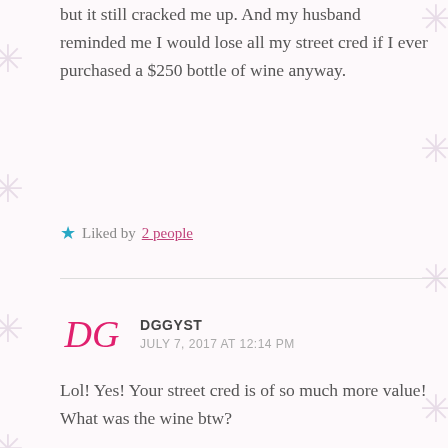but it still cracked me up. And my husband reminded me I would lose all my street cred if I ever purchased a $250 bottle of wine anyway.
Liked by 2 people
DGGYST
JULY 7, 2017 AT 12:14 PM
Lol! Yes! Your street cred is of so much more value! What was the wine btw?
Like